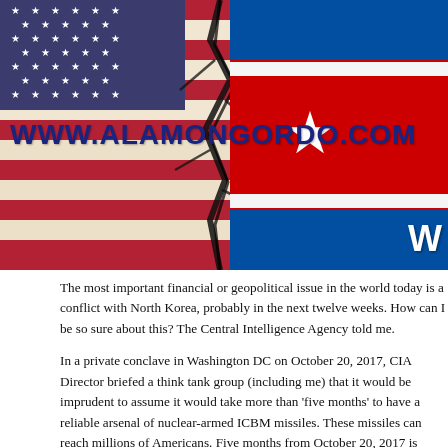[Figure (illustration): Composite image of the US flag on the left and the North Korean flag on the right, overlaid with a cracked/fractured effect down the middle. Bold dark blue text reads 'WWW.ALAMONGORDO.COM' across the lower-left portion of the image. A white 'W' is partially visible at the bottom right.]
The most important financial or geopolitical issue in the world today is a co... North Korea, probably in the next twelve weeks. How can I be so sure abo... Central Intelligence Agency told me.
In a private conclave in Washington DC on October 20, 2017, CIA Directo... tank group (including me) that it would be imprudent to assume it would ta... months' to have a reliable arsenal of nuclear-armed ICBM missiles. These... millions of Americans. Five months from October 20, 2017 is March 20, 20...